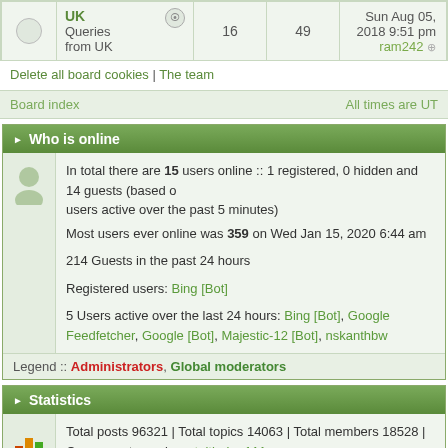|  | UK Queries from UK |  | 16 | 49 | Sun Aug 05, 2018 9:51 pm ram242 |
| --- | --- | --- | --- | --- | --- |
|  | UK
Queries from UK |  | 16 | 49 | Sun Aug 05, 2018 9:51 pm
ram242 |
Delete all board cookies | The team
Board index   All times are UT
Who is online
In total there are 15 users online :: 1 registered, 0 hidden and 14 guests (based on users active over the past 5 minutes)
Most users ever online was 359 on Wed Jan 15, 2020 6:44 am

214 Guests in the past 24 hours

Registered users: Bing [Bot]

5 Users active over the last 24 hours: Bing [Bot], Google Feedfetcher, Google [Bot], Majestic-12 [Bot], nskanthbw
Legend :: Administrators, Global moderators
Statistics
Total posts 96321 | Total topics 14063 | Total members 18528 | Our newest member atulthakur111

Activity over the last 24 hours
New Posts 0 | New Topics 0 | New users 100
Login